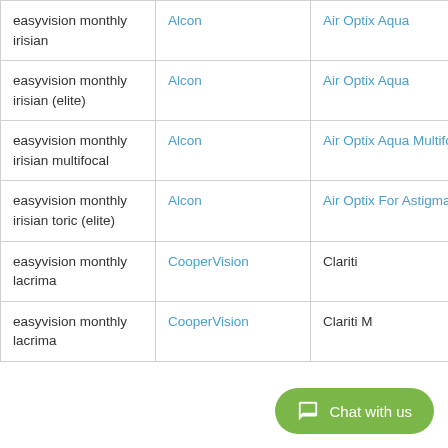| easyvision monthly irisian | Alcon | Air Optix Aqua | £15.50 |
| easyvision monthly irisian (elite) | Alcon | Air Optix Aqua | £15.50 |
| easyvision monthly irisian multifocal | Alcon | Air Optix Aqua Multifocal | £25.75 |
| easyvision monthly irisian toric (elite) | Alcon | Air Optix For Astigmatism | £19.00 |
| easyvision monthly lacrima | CooperVision | Clariti |  |
| easyvision monthly lacrima | CooperVision | Clariti M… |  |